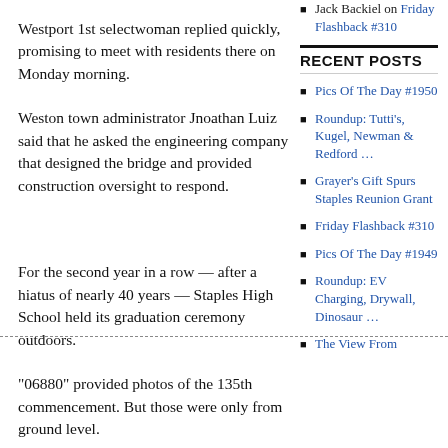Westport 1st selectwoman replied quickly, promising to meet with residents there on Monday morning.
Weston town administrator Jnoathan Luiz said that he asked the engineering company that designed the bridge and provided construction oversight to respond.
For the second year in a row — after a hiatus of nearly 40 years — Staples High School held its graduation ceremony outdoors.
“06880” provided photos of the 135th commencement. But those were only from ground level.
Jack Backiel on Friday Flashback #310
RECENT POSTS
Pics Of The Day #1950
Roundup: Tutti’s, Kugel, Newman & Redford …
Grayer’s Gift Spurs Staples Reunion Grant
Friday Flashback #310
Pics Of The Day #1949
Roundup: EV Charging, Drywall, Dinosaur …
The View From